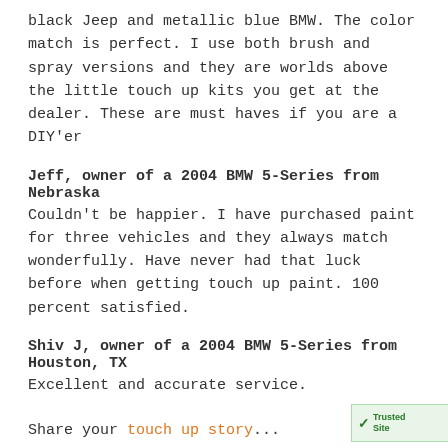black Jeep and metallic blue BMW. The color match is perfect. I use both brush and spray versions and they are worlds above the little touch up kits you get at the dealer. These are must haves if you are a DIY'er
Jeff, owner of a 2004 BMW 5-Series from Nebraska
Couldn't be happier. I have purchased paint for three vehicles and they always match wonderfully. Have never had that luck before when getting touch up paint. 100 percent satisfied.
Shiv J, owner of a 2004 BMW 5-Series from Houston, TX
Excellent and accurate service.
Share your touch up story...
[Figure (logo): TrustedSite badge at bottom right corner]